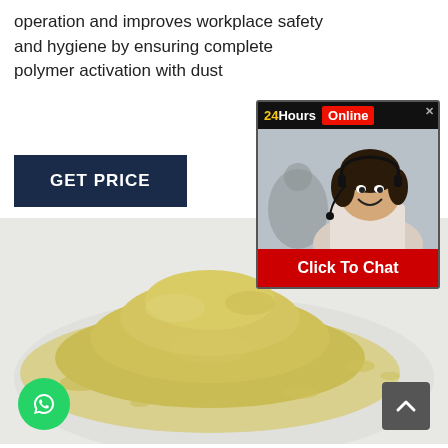operation and improves workplace safety and hygiene by ensuring complete polymer activation with dust
[Figure (other): GET PRICE button with dark navy background and white text]
[Figure (photo): A pile of yellowish-green powder on a white plate]
[Figure (other): 24 Hours Online chat widget showing a woman with headset smiling, with a Click To Chat button]
[Figure (other): WhatsApp floating button (green circle with phone icon)]
[Figure (other): Scroll to top button (dark grey square with up arrow)]